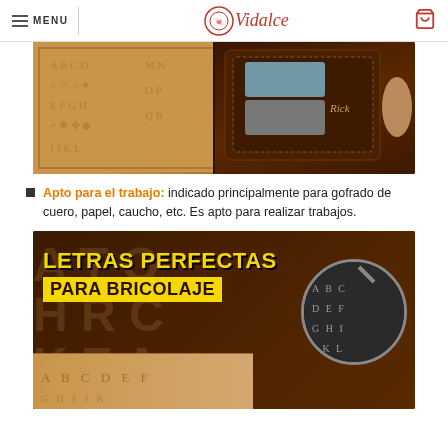MENU | Vidalce | [cart icon]
[Figure (photo): Photo of embossed letter stamp plate next to a dark brown leather wallet labeled 'Rick', with a hand holding the wallet, on a dark brown background.]
Apto para el trabajo: indicado principalmente para gofrado de cuero, papel, caucho, etc. Es apto para realizar trabajos.
[Figure (photo): Product promotional image with text 'LETRAS PERFECTAS PARA BRICOLAJE' in bold yellow/white letters on a dark background, showing letter stamp plates and a magnified view of embossed letters.]